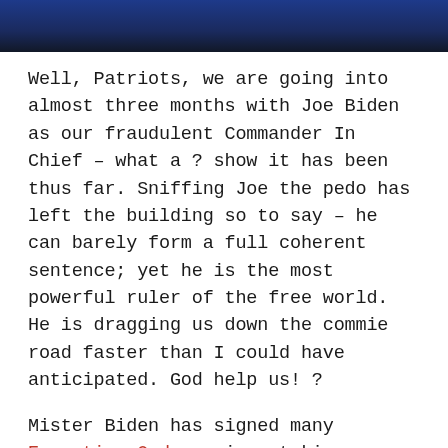[Figure (photo): Partial photo of a person in a dark suit with a yellow/blue tie or lanyard, cropped at the top of the page showing only the lower torso/chest area.]
Well, Patriots, we are going into almost three months with Joe Biden as our fraudulent Commander In Chief – what a ? show it has been thus far. Sniffing Joe the pedo has left the building so to say – he can barely form a full coherent sentence; yet he is the most powerful ruler of the free world. He is dragging us down the commie road faster than I could have anticipated. God help us! ?
Mister Biden has signed many Executive Orders since taking office, many simply to erase President Trump's policies that put America First – Biden is China first. Biden is ushering us into a socialist country – destroying our core values one Executive